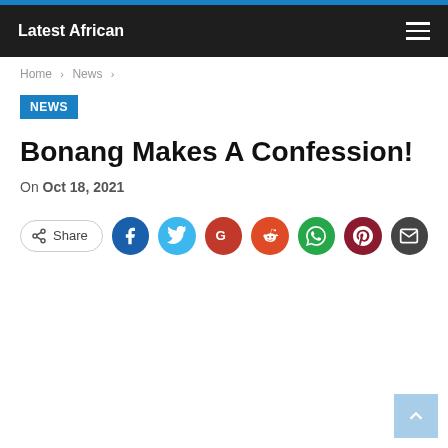Latest African
Home > News >
NEWS
Bonang Makes A Confession!
On Oct 18, 2021
[Figure (other): Share button with social media icons: Facebook, Twitter, Google, Reddit, WhatsApp, Pinterest, Email]